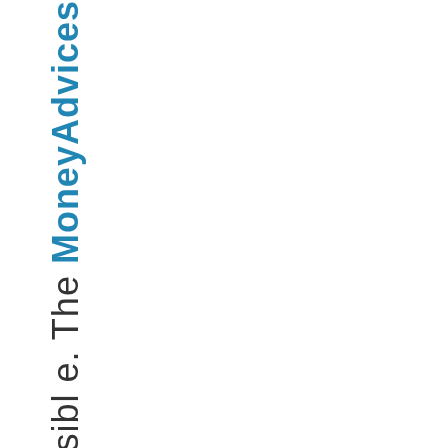chaspossibl e. The MoneyAdvices